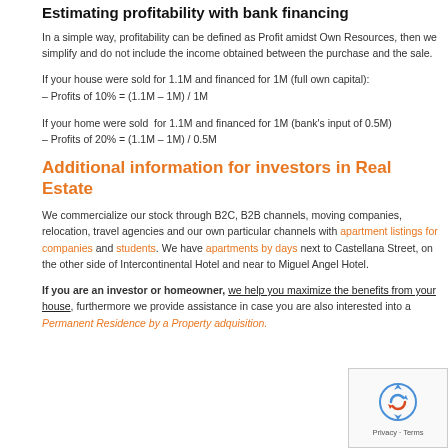Estimating profitability with bank financing
In a simple way, profitability can be defined as Profit amidst Own Resources, then we simplify and do not include the income obtained between the purchase and the sale.
If your house were sold for 1.1M and financed for 1M (full own capital):
– Profits of 10% = (1.1M – 1M) / 1M
If your home were sold for 1.1M and financed for 1M (bank's input of 0.5M)
– Profits of 20% = (1.1M – 1M) / 0.5M
Additional information for investors in Real Estate
We commercialize our stock through B2C, B2B channels, moving companies, relocation, travel agencies and our own particular channels with apartment listings for companies and students. We have apartments by days next to Castellana Street, on the other side of Intercontinental Hotel and near to Miguel Angel Hotel.
If you are an investor or homeowner, we help you maximize the benefits from your house, furthermore we provide assistance in case you are also interested into a Permanent Residence by a Property adquisition.
[Figure (other): reCAPTCHA widget with Privacy and Terms text]